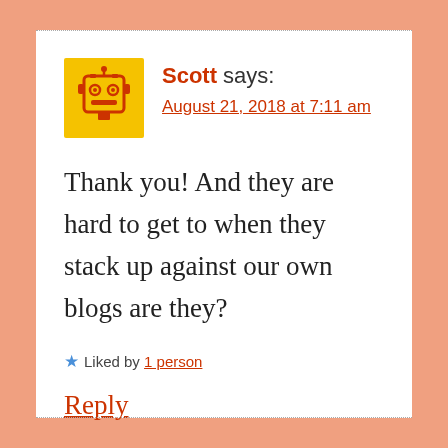[Figure (illustration): Yellow square avatar with an orange robot/character face icon]
Scott says:
August 21, 2018 at 7:11 am
Thank you! And they are hard to get to when they stack up against our own blogs are they?
★ Liked by 1 person
Reply